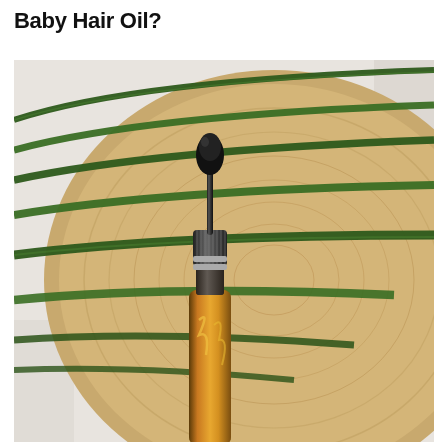Baby Hair Oil?
[Figure (photo): An amber glass dropper bottle with a black dropper top lying on a round wooden cutting board slice, with long green plant leaves (aloe or similar) fanned out behind it, on a light background.]